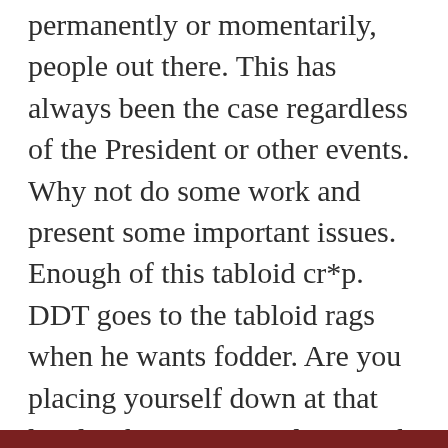permanently or momentarily, people out there. This has always been the case regardless of the President or other events. Why not do some work and present some important issues. Enough of this tabloid cr*p. DDT goes to the tabloid rags when he wants fodder. Are you placing yourself down at that level? There is certainly enough ‘real’ news on which to comment